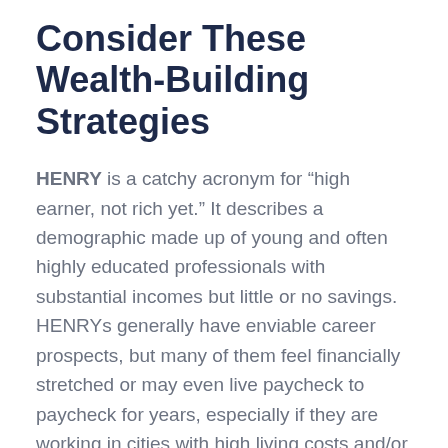Consider These Wealth-Building Strategies
HENRY is a catchy acronym for “high earner, not rich yet.” It describes a demographic made up of young and often highly educated professionals with substantial incomes but little or no savings. HENRYs generally have enviable career prospects, but many of them feel financially stretched or may even live paycheck to paycheck for years, especially if they are working in cities with high living costs and/or facing large student loan payments.